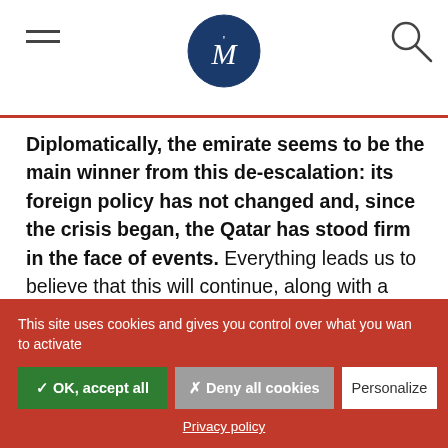M logo header with hamburger menu and search icon
Diplomatically, the emirate seems to be the main winner from this de-escalation: its foreign policy has not changed and, since the crisis began, the Qatar has stood firm in the face of events. Everything leads us to believe that this will continue, along with a strengthening of Qatari ties with its major regional and global partners (Russia, China) and a further international soft power "offensive." Previous examples
This site uses cookies and gives you control over what you want to activate
✓ OK, accept all
✗ Deny all cookies
Personalize
Privacy policy